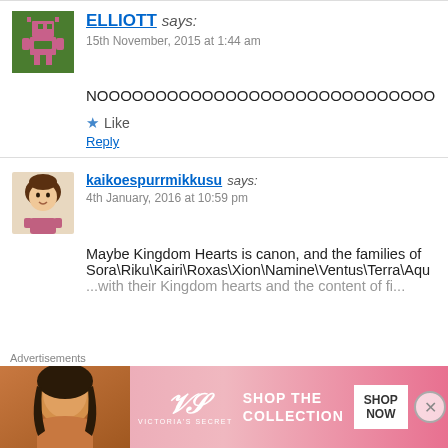ELLIOTT says:
15th November, 2015 at 1:44 am
NOOOOOOOOOOOOOOOOOOOOOOOOOOOOOOOOOOO
Like
Reply
kaikoespurrmikkusu says:
4th January, 2016 at 10:59 pm
Maybe Kingdom Hearts is canon, and the families of Sora\Riku\Kairi\Roxas\Xion\Namine\Ventus\Terra\Aqu...
Advertisements